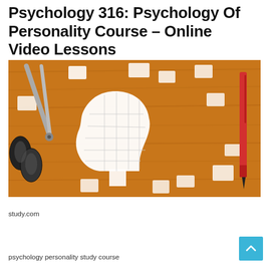Psychology 316: Psychology Of Personality Course – Online Video Lessons
[Figure (photo): A wooden table surface with white puzzle pieces arranged in the shape of a human head silhouette (facing left), with scissors on the left side and a red pen on the right side.]
study.com
psychology personality study course